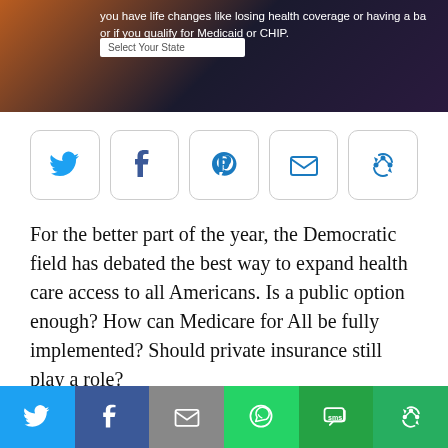[Figure (photo): Screenshot of a healthcare.gov or similar health insurance website showing text about life changes and qualifying for Medicaid or CHIP, with a 'Select Your State' dropdown. Orange and dark background.]
[Figure (other): Row of social media share buttons: Twitter, Facebook, Pinterest, Email, and a share/more button, each in a rounded square border outline.]
For the better part of the year, the Democratic field has debated the best way to expand health care access to all Americans. Is a public option enough? How can Medicare for All be fully implemented? Should private insurance still play a role?
The first real health care battle, however, should any of them get sworn in to the presidency in 2021, may very
[Figure (other): Bottom social share bar with colored buttons: Twitter (blue), Facebook (dark blue), Email (gray), WhatsApp (green), SMS (green), More/share (dark green).]